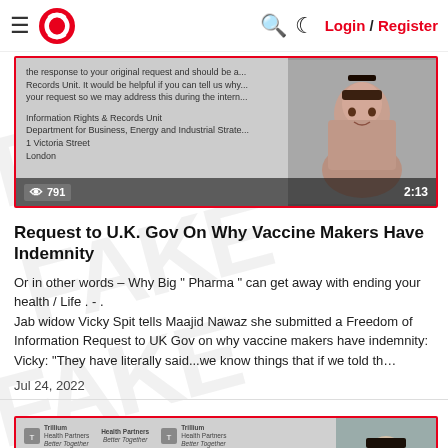Login / Register
[Figure (screenshot): Video thumbnail showing a document letter with a woman's face on the right, view count 791, duration 2:13, red border]
Request to U.K. Gov On Why Vaccine Makers Have Indemnity
Or in other words – Why Big " Pharma " can get away with ending your health / Life . - .
Jab widow Vicky Spit tells Maajid Nawaz she submitted a Freedom of Information Request to UK Gov on why vaccine makers have indemnity:
Vicky: "They have literally said...we know things that if we told th…
Jul 24, 2022
[Figure (screenshot): Video thumbnail: 3 DOCTORS DEAD 1 WEEK AFTER 4th JAB, Trillium Health Partners logos, documents, man's face on right, red border]